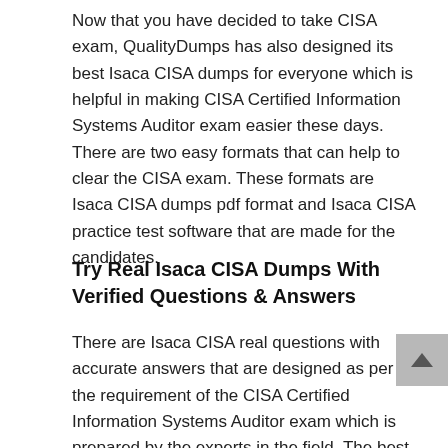Now that you have decided to take CISA exam, QualityDumps has also designed its best Isaca CISA dumps for everyone which is helpful in making CISA Certified Information Systems Auditor exam easier these days. There are two easy formats that can help to clear the CISA exam. These formats are Isaca CISA dumps pdf format and Isaca CISA practice test software that are made for the candidates.
Try Real Isaca CISA Dumps With Verified Questions & Answers
There are Isaca CISA real questions with accurate answers that are designed as per the requirement of the CISA Certified Information Systems Auditor exam which is prepared by the experts in the field. The best thing about these CISA actual questions and answers pdf formats